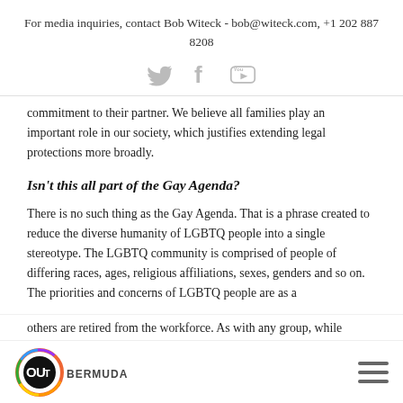For media inquiries, contact Bob Witeck - bob@witeck.com, +1 202 887 8208
[Figure (illustration): Social media icons: Twitter bird, Facebook F, YouTube play button]
commitment to their partner.  We believe all families play an important role in our society, which justifies extending legal protections more broadly.
Isn't this all part of the Gay Agenda?
There is no such thing as the Gay Agenda.  That is a phrase created to reduce the diverse humanity of LGBTQ people into a single stereotype.  The LGBTQ community is comprised of people of differing races, ages, religious affiliations, sexes, genders and so on.  The priorities and concerns of LGBTQ people are as a
OUT BERMUDA [logo] | hamburger menu icon
others are retired from the workforce.  As with any group, while